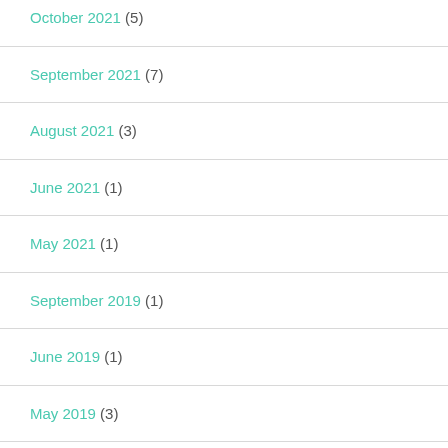October 2021 (5)
September 2021 (7)
August 2021 (3)
June 2021 (1)
May 2021 (1)
September 2019 (1)
June 2019 (1)
May 2019 (3)
April 2019 (3)